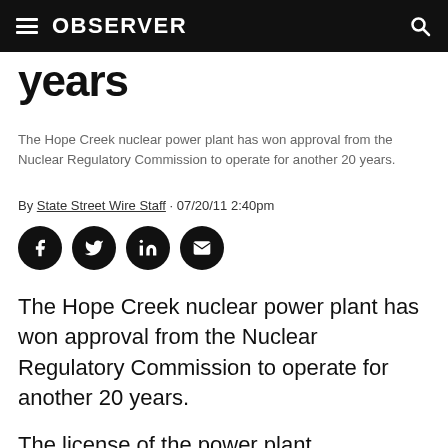OBSERVER
years
The Hope Creek nuclear power plant has won approval from the Nuclear Regulatory Commission to operate for another 20 years.
By State Street Wire Staff · 07/20/11 2:40pm
[Figure (other): Social share buttons: Facebook, Twitter, LinkedIn, Email]
The Hope Creek nuclear power plant has won approval from the Nuclear Regulatory Commission to operate for another 20 years.
The license of the power plant